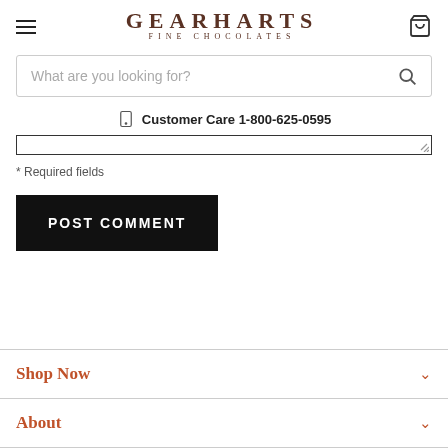GEARHARTS FINE CHOCOLATES
What are you looking for?
Customer Care 1-800-625-0595
* Required fields
POST COMMENT
Shop Now
About